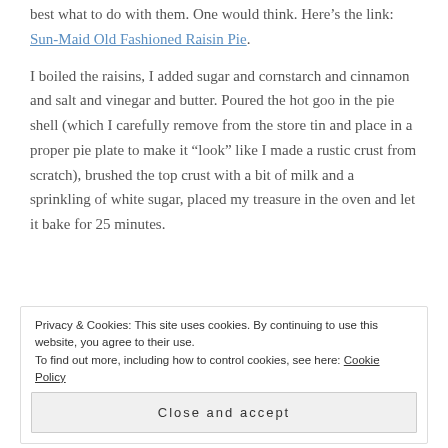best what to do with them. One would think. Here's the link: Sun-Maid Old Fashioned Raisin Pie.
I boiled the raisins, I added sugar and cornstarch and cinnamon and salt and vinegar and butter. Poured the hot goo in the pie shell (which I carefully remove from the store tin and place in a proper pie plate to make it “look” like I made a rustic crust from scratch), brushed the top crust with a bit of milk and a sprinkling of white sugar, placed my treasure in the oven and let it bake for 25 minutes.
Privacy & Cookies: This site uses cookies. By continuing to use this website, you agree to their use. To find out more, including how to control cookies, see here: Cookie Policy
Close and accept